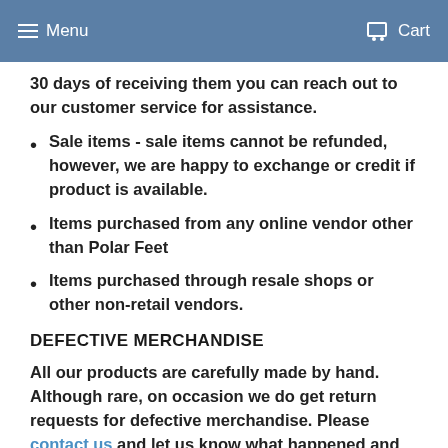Menu  Cart
30 days of receiving them you can reach out to our customer service for assistance.
Sale items - sale items cannot be refunded, however, we are happy to exchange or credit if product is available.
Items purchased from any online vendor other than Polar Feet
Items purchased through resale shops or other non-retail vendors.
DEFECTIVE MERCHANDISE
All our products are carefully made by hand. Although rare, on occasion we do get return requests for defective merchandise. Please contact us and let us know what happened and provide a photo. After review,